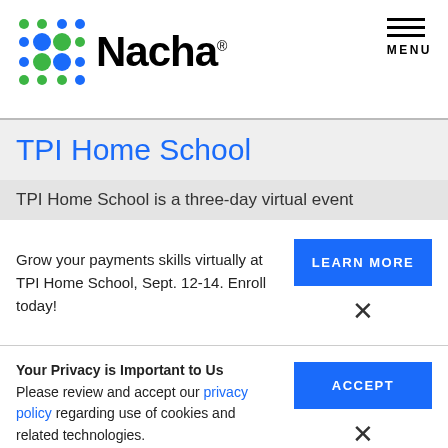[Figure (logo): Nacha logo with colored dot grid pattern and 'Nacha' wordmark]
TPI Home School
TPI Home School is a three-day virtual event
Grow your payments skills virtually at TPI Home School, Sept. 12-14. Enroll today!
LEARN MORE
Your Privacy is Important to Us
Please review and accept our privacy policy regarding use of cookies and related technologies.
ACCEPT